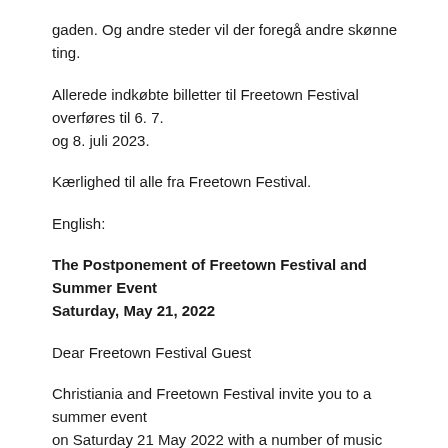gaden. Og andre steder vil der foregå andre skønne ting.
Allerede indkøbte billetter til Freetown Festival overføres til 6. 7. og 8. juli 2023.
Kærlighed til alle fra Freetown Festival.
English:
The Postponement of Freetown Festival and Summer Event Saturday, May 21, 2022
Dear Freetown Festival Guest
Christiania and Freetown Festival invite you to a summer event on Saturday 21 May 2022 with a number of music scenes and fun. The event is a warm-up for the long-awaited Freetown festival, which we unfortunately have to postpone until July 6, 7 and 8, 2023.